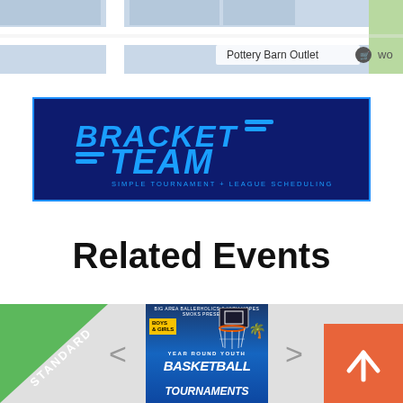[Figure (map): Map screenshot showing street layout with Pottery Barn Outlet label and shopping cart icon]
[Figure (logo): Bracket Team logo — dark navy banner with blue text reading BRACKET TEAM and tagline SIMPLE TOURNAMENT + LEAGUE SCHEDULING]
Related Events
[Figure (infographic): Event carousel showing a STANDARD badge on the left, a basketball tournament promotional card in the center (Year Round Youth Basketball Tournaments, Boys & Girls), navigation arrows, and a scroll-to-top orange button]